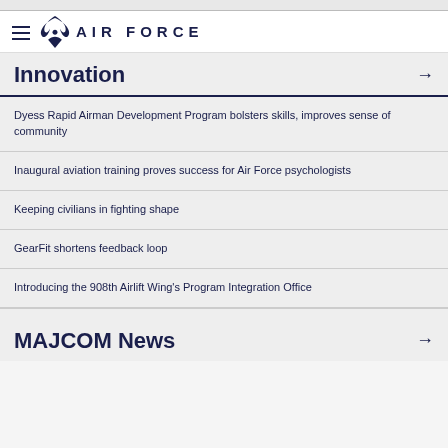AIR FORCE
Innovation
Dyess Rapid Airman Development Program bolsters skills, improves sense of community
Inaugural aviation training proves success for Air Force psychologists
Keeping civilians in fighting shape
GearFit shortens feedback loop
Introducing the 908th Airlift Wing's Program Integration Office
MAJCOM News